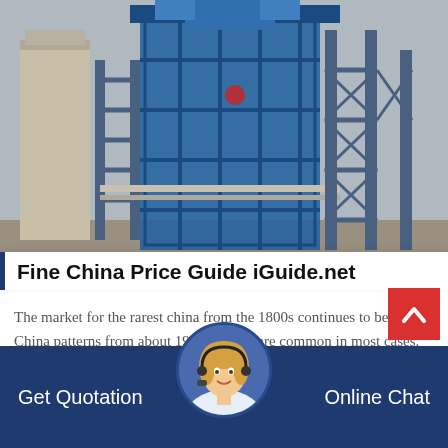[Figure (photo): Industrial facility with blue steel scaffolding and silos/towers against a grey sky]
Fine China Price Guide iGuide.net
The market for the rarest china from the 1800s continues to be strong. China patterns from about 1965 onward are common in most cases. Still, some command good prices
[Figure (photo): Customer service representative woman with headset, smiling]
Get Quotation
Online Chat